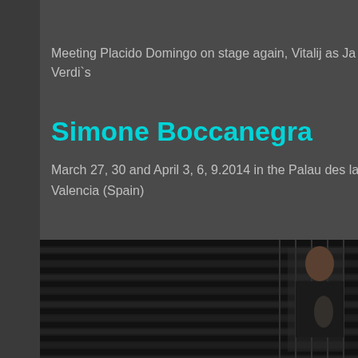Meeting Placido Domingo on stage again, Vitalij as Ja Verdi`s
Simone Boccanegra
March 27, 30 and April 3, 6, 9.2014 in the Palau des las Arts Valencia (Spain)
[Figure (photo): Dark theatrical stage photo of a performer in black costume against a grid backdrop, partial image cutting off at right edge]